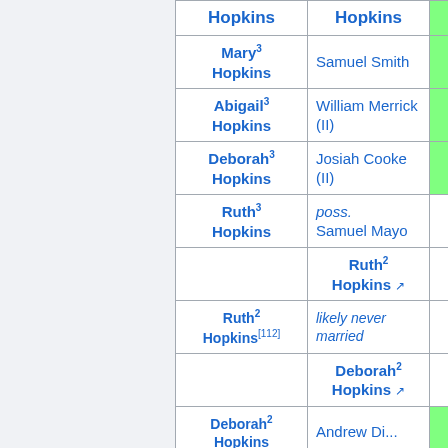| Person | Spouse | Verified |
| --- | --- | --- |
| Mary³ Hopkins | Samuel Smith | ✓ |
| Abigail³ Hopkins | William Merrick (II) | ✓ |
| Deborah³ Hopkins | Josiah Cooke (II) | ✓ |
| Ruth³ Hopkins | poss. Samuel Mayo |  |
|  | Ruth² Hopkins ↗ |  |
| Ruth² Hopkins[112] | likely never married |  |
|  | Deborah² Hopkins ↗ |  |
| Deborah² Hopkins | Andrew Di... | ✓ |